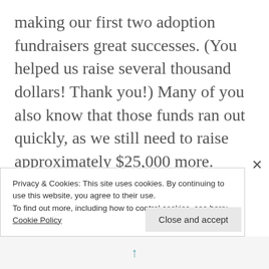making our first two adoption fundraisers great successes. (You helped us raise several thousand dollars! Thank you!) Many of you also know that those funds ran out quickly, as we still need to raise approximately $25,000 more. Unfortunately, our business account can't continue to support the large withdrawals it's been providing up to now.
Privacy & Cookies: This site uses cookies. By continuing to use this website, you agree to their use.
To find out more, including how to control cookies, see here: Cookie Policy
Close and accept